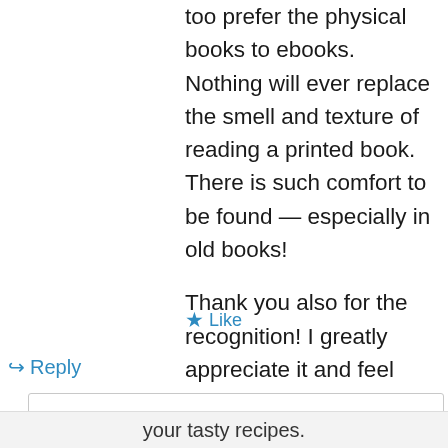too prefer the physical books to ebooks. Nothing will ever replace the smell and texture of reading a printed book. There is such comfort to be found — especially in old books!
Thank you also for the recognition! I greatly appreciate it and feel honored.
Kenley
★ Like
↪ Reply
Privacy & Cookies: This site uses cookies. By continuing to use this website, you agree to their use.
To find out more, including how to control cookies, see here: Cookie Policy
Close and accept
your tasty recipes.